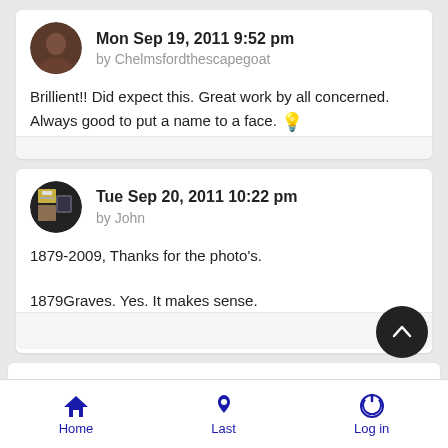Mon Sep 19, 2011 9:52 pm
by Chelmsfordthescapegoat
Brillient!! Did expect this. Great work by all concerned. Always good to put a name to a face. 💡
Tue Sep 20, 2011 10:22 pm
by John
1879-2009, Thanks for the photo's.

1879Graves. Yes. It makes sense.
Home | Last | Log in